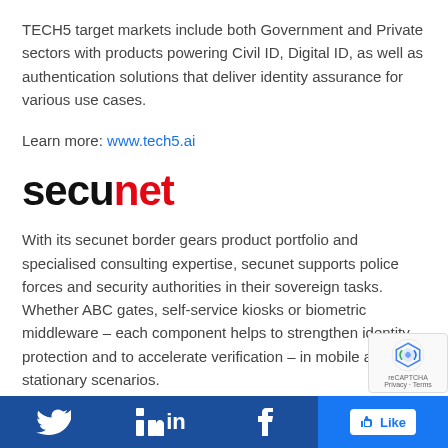TECH5 target markets include both Government and Private sectors with products powering Civil ID, Digital ID, as well as authentication solutions that deliver identity assurance for various use cases.
Learn more: www.tech5.ai
[Figure (logo): secunet logo in bold font, 'secu' in black and 'net' in red]
With its secunet border gears product portfolio and specialised consulting expertise, secunet supports police forces and security authorities in their sovereign tasks. Whether ABC gates, self-service kiosks or biometric middleware – each component helps to strengthen identity protection and to accelerate verification – in mobile and stationary scenarios.
Social media bar with Twitter, LinkedIn, Facebook icons and Like button